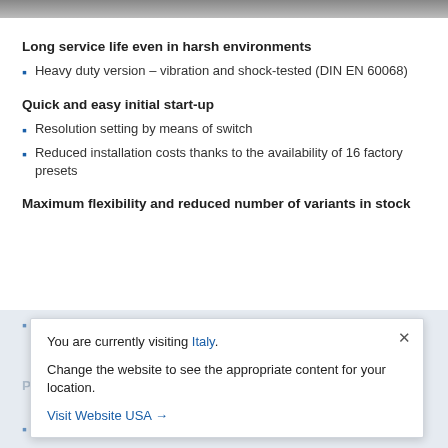[Figure (photo): Partial product image at top of page]
Long service life even in harsh environments
Heavy duty version – vibration and shock-tested (DIN EN 60068)
Quick and easy initial start-up
Resolution setting by means of switch
Reduced installation costs thanks to the availability of 16 factory presets
Maximum flexibility and reduced number of variants in stock
You are currently visiting Italy. Change the website to see the appropriate content for your location. Visit Website USA →
Adjustable spring pressure